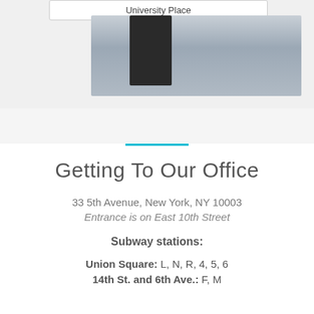[Figure (screenshot): Map/web interface screenshot showing a dropdown with 'University Place' and a photo of an office building exterior]
Getting To Our Office
33 5th Avenue, New York, NY 10003
Entrance is on East 10th Street
Subway stations:
Union Square: L, N, R, 4, 5, 6
14th St. and 6th Ave.: F, M